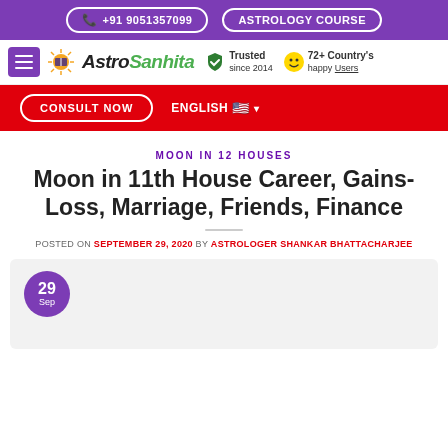+91 9051357099   ASTROLOGY COURSE
[Figure (logo): AstroSanhita logo with sun icon, Trusted since 2014 badge, 72+ Country's happy Users badge]
CONSULT NOW   ENGLISH
MOON IN 12 HOUSES
Moon in 11th House Career, Gains-Loss, Marriage, Friends, Finance
POSTED ON SEPTEMBER 29, 2020 BY ASTROLOGER SHANKAR BHATTACHARJEE
[Figure (other): Date badge showing 29 Sep in purple circle on grey card background]